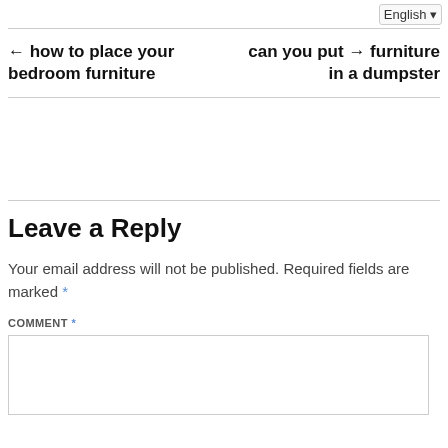English (language selector)
← how to place your bedroom furniture
can you put → furniture in a dumpster
Leave a Reply
Your email address will not be published. Required fields are marked *
COMMENT *